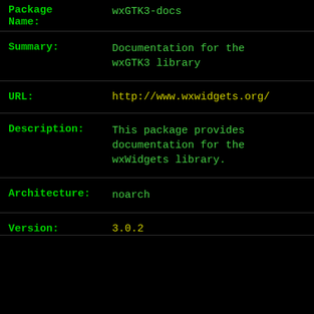Package Name: wxGTK3-docs
Summary: Documentation for the wxGTK3 library
URL: http://www.wxwidgets.org/
Description: This package provides documentation for the wxWidgets library.
Architecture: noarch
Version: 3.0.2